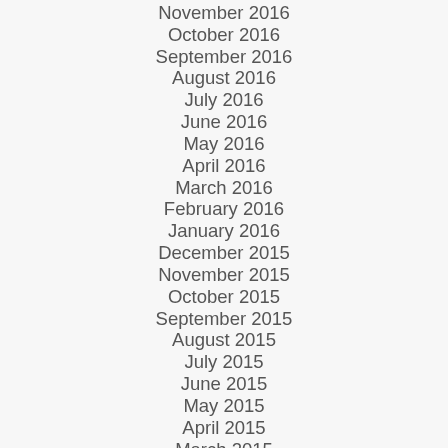November 2016
October 2016
September 2016
August 2016
July 2016
June 2016
May 2016
April 2016
March 2016
February 2016
January 2016
December 2015
November 2015
October 2015
September 2015
August 2015
July 2015
June 2015
May 2015
April 2015
March 2015